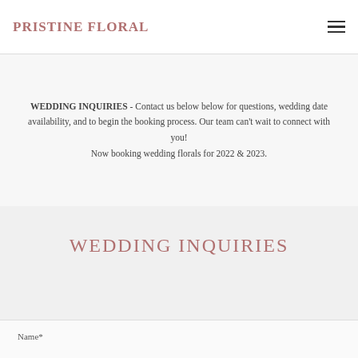PRISTINE FLORAL
WEDDING INQUIRIES -  Contact us below below for questions, wedding date availability, and to begin the booking process.  Our team can't wait to connect with you! Now booking wedding florals for 2022 & 2023.
WEDDING INQUIRIES
Name*